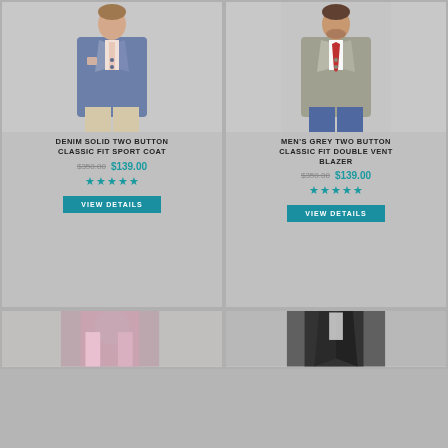[Figure (photo): Man wearing a denim blue solid two button classic fit sport coat with pink tie and beige pants]
DENIM SOLID TWO BUTTON CLASSIC FIT SPORT COAT
$350.00  $139.00
★★★★★
VIEW DETAILS
[Figure (photo): Man wearing a grey two button classic fit double vent blazer with red tie and jeans]
MEN'S GREY TWO BUTTON CLASSIC FIT DOUBLE VENT BLAZER
$350.00  $139.00
★★★★★
VIEW DETAILS
[Figure (photo): Partial image of a blazer at the bottom left, appears colorful]
[Figure (photo): Partial image of a dark jacket at the bottom right]